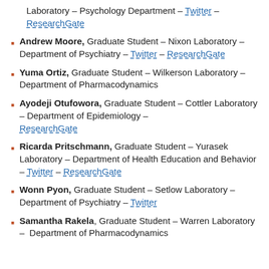Laboratory – Psychology Department – Twitter – ResearchGate
Andrew Moore, Graduate Student – Nixon Laboratory – Department of Psychiatry – Twitter – ResearchGate
Yuma Ortiz, Graduate Student – Wilkerson Laboratory – Department of Pharmacodynamics
Ayodeji Otufowora, Graduate Student – Cottler Laboratory – Department of Epidemiology – ResearchGate
Ricarda Pritschmann, Graduate Student – Yurasek Laboratory – Department of Health Education and Behavior – Twitter – ResearchGate
Wonn Pyon, Graduate Student – Setlow Laboratory – Department of Psychiatry – Twitter
Samantha Rakela, Graduate Student – Warren Laboratory – Department of Pharmacodynamics